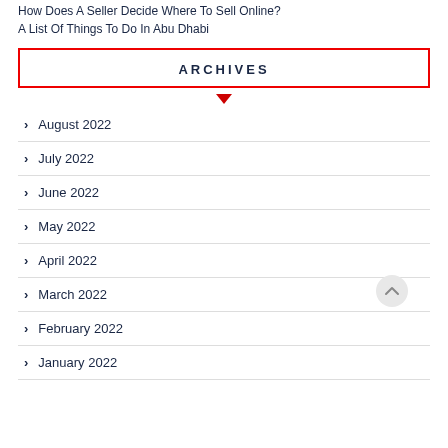How Does A Seller Decide Where To Sell Online?
A List Of Things To Do In Abu Dhabi
ARCHIVES
August 2022
July 2022
June 2022
May 2022
April 2022
March 2022
February 2022
January 2022